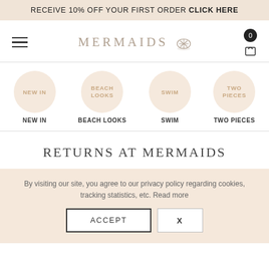RECEIVE 10% OFF YOUR FIRST ORDER CLICK HERE
[Figure (logo): Mermaids brand logo with shell icon, hamburger menu icon, and cart icon with 0 badge]
[Figure (infographic): Category navigation circles: NEW IN, BEACH LOOKS, SWIM, TWO PIECES with labels below]
RETURNS AT MERMAIDS
By visiting our site, you agree to our privacy policy regarding cookies, tracking statistics, etc. Read more
ACCEPT   X